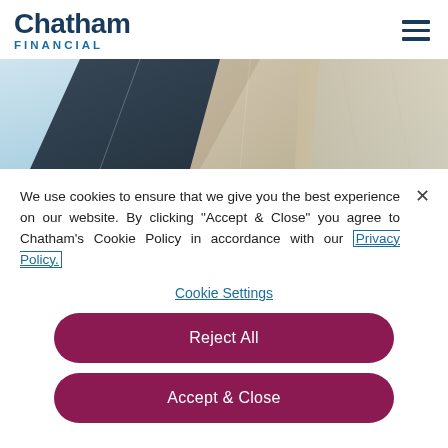Chatham FINANCIAL
[Figure (photo): Abstract architectural photo showing angular geometric shapes in light blue, dark navy, and beige/tan tones — likely a modern glass or metal building facade viewed from below.]
We use cookies to ensure that we give you the best experience on our website. By clicking "Accept & Close" you agree to Chatham's Cookie Policy in accordance with our Privacy Policy.
Cookie Settings
Reject All
Accept & Close